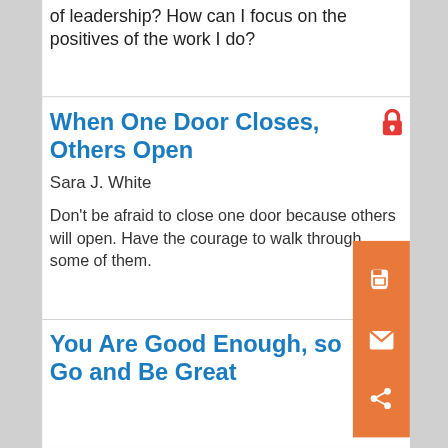of leadership? How can I focus on the positives of the work I do?
When One Door Closes, Others Open
Sara J. White
Don't be afraid to close one door because others will open. Have the courage to walk through some of them.
You Are Good Enough, so Go and Be Great